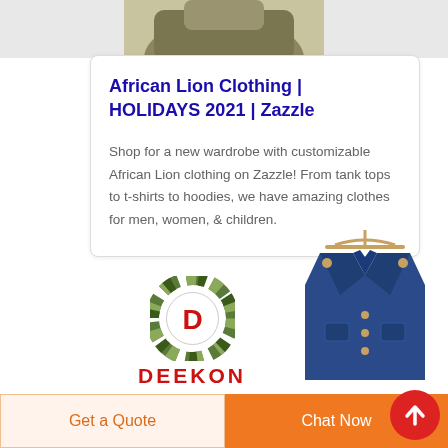[Figure (photo): Partial view of an olive/khaki colored jacket on a hanger, cropped at top of page]
African Lion Clothing | HOLIDAYS 2021 | Zazzle
Shop for a new wardrobe with customizable African Lion clothing on Zazzle! From tank tops to t-shirts to hoodies, we have amazing clothes for men, women, & children.
[Figure (logo): DEEKON logo — circular green camouflage pattern ring with red D letter in center, and red DEEKON text below]
[Figure (photo): Blue military-style jacket on a wooden hanger, partial view]
Get a Quote
Chat Now